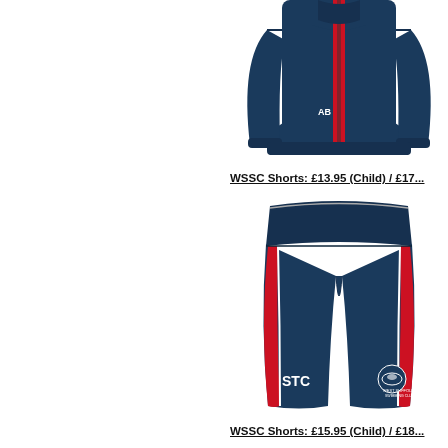[Figure (photo): Navy blue zip-up tracksuit jacket with red central stripe and 'AB' monogram in white on the left chest, shown on a white background.]
WSSC Shorts: £13.95 (Child) / £17...
[Figure (photo): Navy blue sports shorts with red and white side panels, 'STC' text in white on front left, and West Suffolk Swimming Club logo on front right, shown on white background.]
WSSC Shorts: £15.95 (Child) / £18...